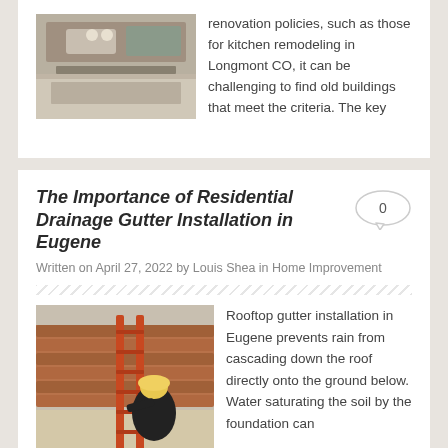[Figure (photo): Kitchen remodeling photo showing countertop and sink area]
renovation policies, such as those for kitchen remodeling in Longmont CO, it can be challenging to find old buildings that meet the criteria. The key
The Importance of Residential Drainage Gutter Installation in Eugene
Written on April 27, 2022 by Louis Shea in Home Improvement
[Figure (photo): Worker in yellow hard hat on an orange ladder working on a roof with terracotta tiles]
Rooftop gutter installation in Eugene prevents rain from cascading down the roof directly onto the ground below. Water saturating the soil by the foundation can lead to ongoing and sometimes serious problems. An